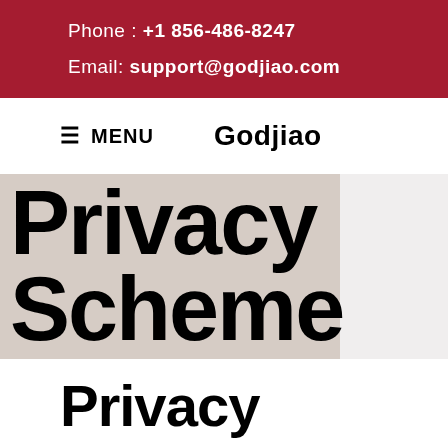Phone : +1 856-486-8247
Email: support@godjiao.com
≡ MENU   Godjiao
Privacy Scheme
Privacy